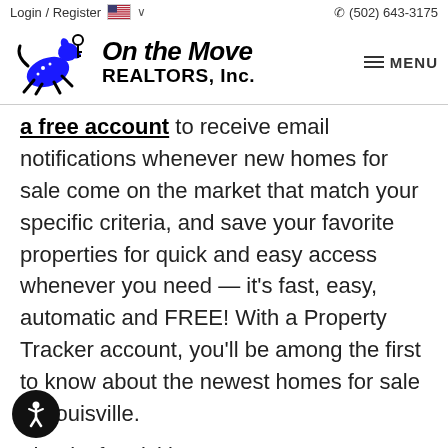Login / Register   🇺🇸 ∨     ☎ (502) 643-3175
[Figure (logo): On the Move REALTORS, Inc. logo with a running dog/cat figure in blue and black, holding a key, with bold italic text 'On the Move' and 'REALTORS, Inc.']
a free account to receive email notifications whenever new homes for sale come on the market that match your specific criteria, and save your favorite properties for quick and easy access whenever you need — it's fast, easy, automatic and FREE! With a Property Tracker account, you'll be among the first to know about the newest homes for sale in Louisville.
Thanks for visiting OnTheMoveRealtors.com, home of exquisite properties and excellent service.